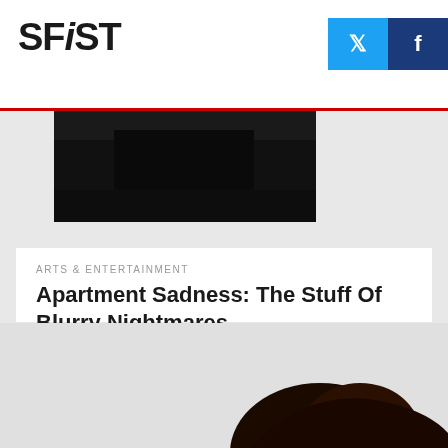SFiST
[Figure (photo): Dark, blurry photo of an apartment interior]
ARTS & ENTERTAINMENT
Apartment Sadness: The Stuff Of Blurry Nightmares
For some reason, the person who posted this ad to Craigslist for an in-law one-bedroom in the Bayview couldn't take a clear shot of the unit in question. Either their phone really sucks,
AUGUST 28, 2015
[Figure (photo): Partial view of a person's head/hair at the bottom of the page]